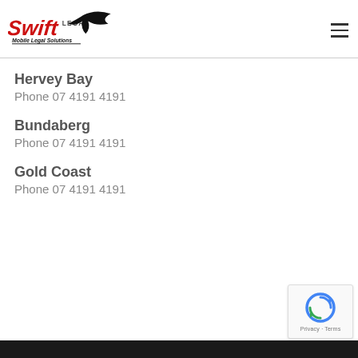[Figure (logo): Swift Legal Mobile Legal Solutions logo with red italic Swift text and bird silhouette]
Hervey Bay
Phone 07 4191 4191
Bundaberg
Phone 07 4191 4191
Gold Coast
Phone 07 4191 4191
[Figure (logo): reCAPTCHA badge with circular arrow icon and Privacy - Terms text]